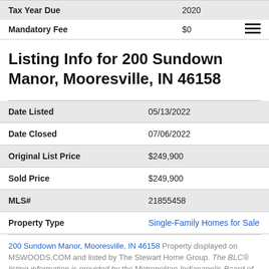|  |  |
| --- | --- |
| Tax Year Due | 2020 |
| Mandatory Fee | $0 |
Listing Info for 200 Sundown Manor, Mooresville, IN 46158
|  |  |
| --- | --- |
| Date Listed | 05/13/2022 |
| Date Closed | 07/06/2022 |
| Original List Price | $249,900 |
| Sold Price | $249,900 |
| MLS# | 21855458 |
| Property Type | Single-Family Homes for Sale |
200 Sundown Manor, Mooresville, IN 46158 Property displayed on MSWOODS.COM and listed by The Stewart Home Group. The BLC® listing information is provided by the Metropolitan Indianapolis Board of REALTORS® from a